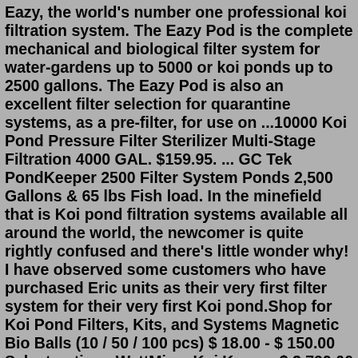Eazy, the world's number one professional koi filtration system. The Eazy Pod is the complete mechanical and biological filter system for water-gardens up to 5000 or koi ponds up to 2500 gallons. The Eazy Pod is also an excellent filter selection for quarantine systems, as a pre-filter, for use on ...10000 Koi Pond Pressure Filter Sterilizer Multi-Stage Filtration 4000 GAL. $159.95. ... GC Tek PondKeeper 2500 Filter System Ponds 2,500 Gallons & 65 lbs Fish load. In the minefield that is Koi pond filtration systems available all around the world, the newcomer is quite rightly confused and there's little wonder why! I have observed some customers who have purchased Eric units as their very first filter system for their very first Koi pond.Shop for Koi Pond Filters, Kits, and Systems Magnetic Bio Balls (10 / 50 / 100 pcs) $ 18.00 - $ 150.00 Select options WattMizer Koi Keeper $ 3,799.00 - $ 4,599.00 Select options No Niche Skimmer (Black) $ 84.95 Add to cart PERIHA VARIABLE AMPHIBIOUS PUMP $ 129.99 - $ 239.99 Select options PondKeeper $ 2,659.00 - $ 3,149.00